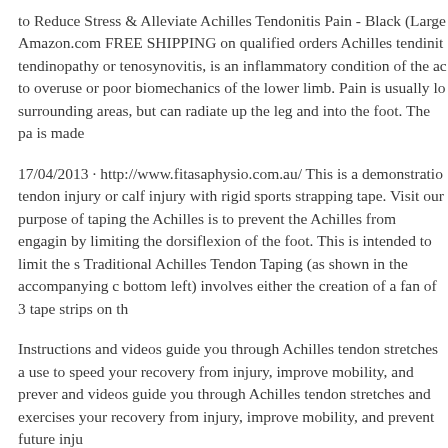to Reduce Stress & Alleviate Achilles Tendonitis Pain - Black (Large Amazon.com FREE SHIPPING on qualified orders Achilles tendinitis, tendinopathy or tenosynovitis, is an inflammatory condition of the ac to overuse or poor biomechanics of the lower limb. Pain is usually lo surrounding areas, but can radiate up the leg and into the foot. The pa is made
17/04/2013 · http://www.fitasaphysio.com.au/ This is a demonstratio tendon injury or calf injury with rigid sports strapping tape. Visit our purpose of taping the Achilles is to prevent the Achilles from engagin by limiting the dorsiflexion of the foot. This is intended to limit the s Traditional Achilles Tendon Taping (as shown in the accompanying c bottom left) involves either the creation of a fan of 3 tape strips on th
Instructions and videos guide you through Achilles tendon stretches a use to speed your recovery from injury, improve mobility, and prever and videos guide you through Achilles tendon stretches and exercises your recovery from injury, improve mobility, and prevent future inju